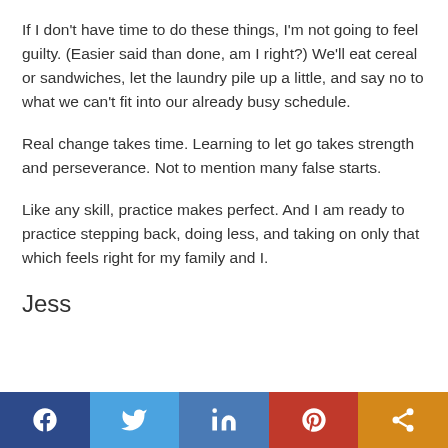If I don't have time to do these things, I'm not going to feel guilty. (Easier said than done, am I right?) We'll eat cereal or sandwiches, let the laundry pile up a little, and say no to what we can't fit into our already busy schedule.
Real change takes time. Learning to let go takes strength and perseverance. Not to mention many false starts.
Like any skill, practice makes perfect. And I am ready to practice stepping back, doing less, and taking on only that which feels right for my family and I.
Jess
Social share bar: Facebook, Twitter, LinkedIn, Pinterest, Share